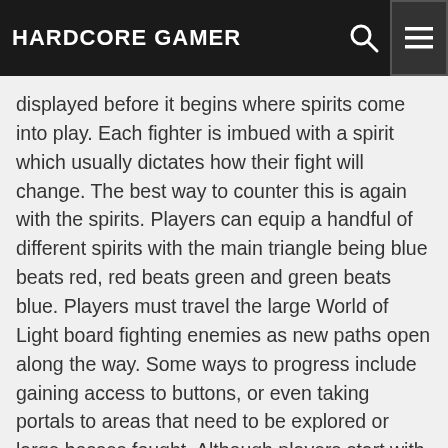HARDCORE GAMER
displayed before it begins where spirits come into play. Each fighter is imbued with a spirit which usually dictates how their fight will change. The best way to counter this is again with the spirits. Players can equip a handful of different spirits with the main triangle being blue beats red, red beats green and green beats blue. Players must travel the large World of Light board fighting enemies as new paths open along the way. Some ways to progress include gaining access to buttons, or even taking portals to areas that need to be explored or large bosses fought. Although players start with just Kirby, they'll run into normal battles against fighters they must rescue who then join the party to let Kirby take a break and swap out for a bit. As the most